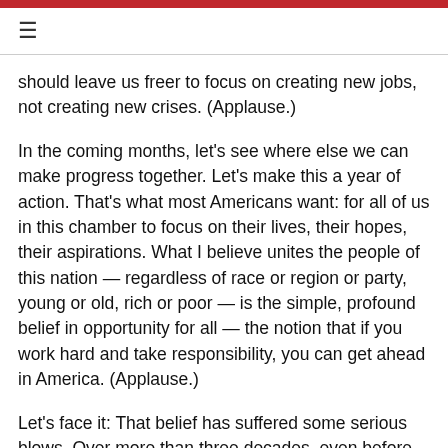≡
should leave us freer to focus on creating new jobs, not creating new crises. (Applause.)
In the coming months, let's see where else we can make progress together. Let's make this a year of action. That's what most Americans want: for all of us in this chamber to focus on their lives, their hopes, their aspirations. What I believe unites the people of this nation — regardless of race or region or party, young or old, rich or poor — is the simple, profound belief in opportunity for all — the notion that if you work hard and take responsibility, you can get ahead in America. (Applause.)
Let's face it: That belief has suffered some serious blows. Over more than three decades, even before the Great